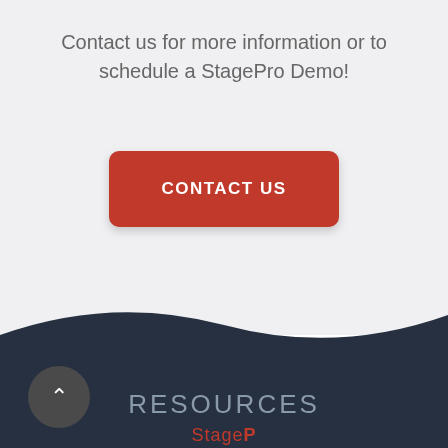Contact us for more information or to schedule a StagePro Demo!
[Figure (other): Red rounded rectangle button with white uppercase text reading CONTACT US]
RESOURCES
[Figure (other): Dark circular back-to-top button with upward chevron arrow]
StagePro